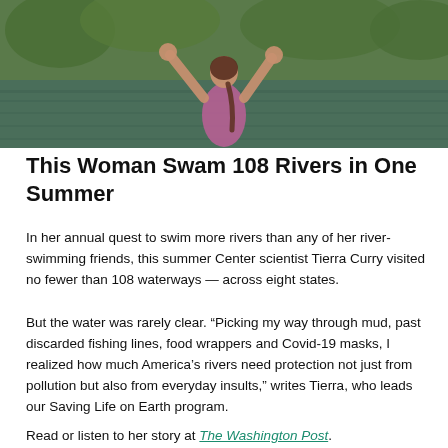[Figure (photo): A woman in a purple swimsuit standing in a river with arms raised in a flexing/celebratory pose, with green trees reflected in the water behind her.]
This Woman Swam 108 Rivers in One Summer
In her annual quest to swim more rivers than any of her river-swimming friends, this summer Center scientist Tierra Curry visited no fewer than 108 waterways — across eight states.
But the water was rarely clear. “Picking my way through mud, past discarded fishing lines, food wrappers and Covid-19 masks, I realized how much America’s rivers need protection not just from pollution but also from everyday insults,” writes Tierra, who leads our Saving Life on Earth program.
Read or listen to her story at The Washington Post.